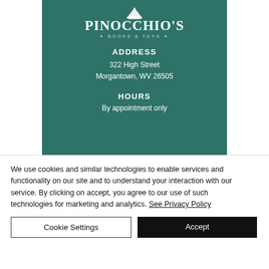[Figure (logo): Pinocchio's Books & Toys logo with hat icon and subtitle on teal background]
ADDRESS
322 High Street
Morgantown, WV 26505
HOURS
By appointment only
We use cookies and similar technologies to enable services and functionality on our site and to understand your interaction with our service. By clicking on accept, you agree to our use of such technologies for marketing and analytics. See Privacy Policy